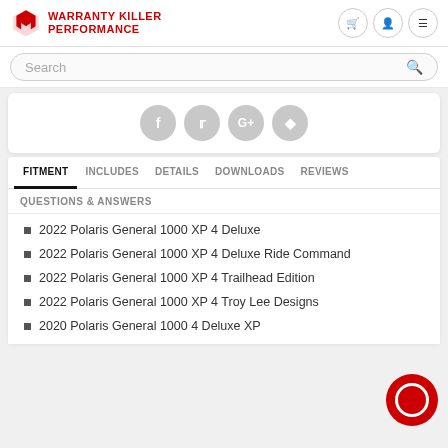WARRANTY KILLER PERFORMANCE
Search
[Figure (other): Social media share icons: Facebook, Twitter, Google+, Pinterest]
FITMENT | INCLUDES | DETAILS | DOWNLOADS | REVIEWS
QUESTIONS & ANSWERS
2022 Polaris General 1000 XP 4 Deluxe
2022 Polaris General 1000 XP 4 Deluxe Ride Command
2022 Polaris General 1000 XP 4 Trailhead Edition
2022 Polaris General 1000 XP 4 Troy Lee Designs
2020 Polaris General 1000 4 Deluxe XP